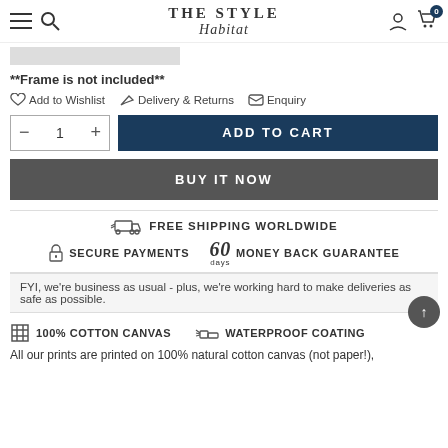THE STYLE Habitat
**Frame is not included**
Add to Wishlist  Delivery & Returns  Enquiry
- 1 + ADD TO CART
BUY IT NOW
FREE SHIPPING WORLDWIDE  SECURE PAYMENTS  60 days MONEY BACK GUARANTEE
FYI, we're business as usual - plus, we're working hard to make deliveries as safe as possible.
100% COTTON CANVAS  WATERPROOF COATING
All our prints are printed on 100% natural cotton canvas (not paper!),